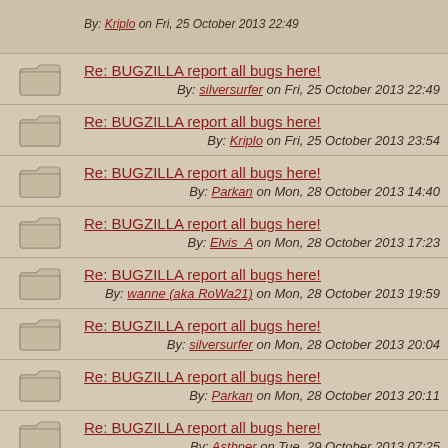Re: BUGZILLA report all bugs here! By: silversurfer on Fri, 25 October 2013 22:49
Re: BUGZILLA report all bugs here! By: Kriplo on Fri, 25 October 2013 23:54
Re: BUGZILLA report all bugs here! By: Parkan on Mon, 28 October 2013 14:40
Re: BUGZILLA report all bugs here! By: Elvis_A on Mon, 28 October 2013 17:23
Re: BUGZILLA report all bugs here! By: wanne (aka RoWa21) on Mon, 28 October 2013 19:59
Re: BUGZILLA report all bugs here! By: silversurfer on Mon, 28 October 2013 20:04
Re: BUGZILLA report all bugs here! By: Parkan on Mon, 28 October 2013 20:11
Re: BUGZILLA report all bugs here! By: Asthner on Tue, 29 October 2013 07:25
Re: BUGZILLA report all bugs here! By: Strohmann on Tue, 29 October 2013 17:47